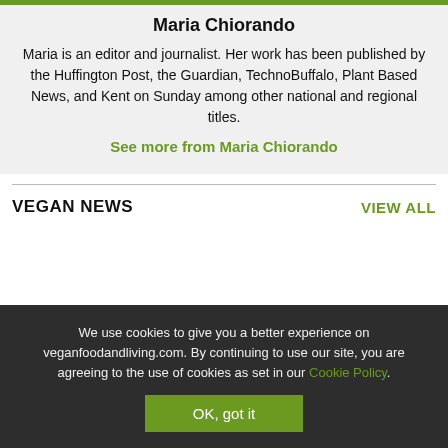Maria Chiorando
Maria is an editor and journalist. Her work has been published by the Huffington Post, the Guardian, TechnoBuffalo, Plant Based News, and Kent on Sunday among other national and regional titles.
See more from Maria Chiorando
VEGAN NEWS
VIEW ALL
We use cookies to give you a better experience on veganfoodandliving.com. By continuing to use our site, you are agreeing to the use of cookies as set in our Cookie Policy.
OK, got it